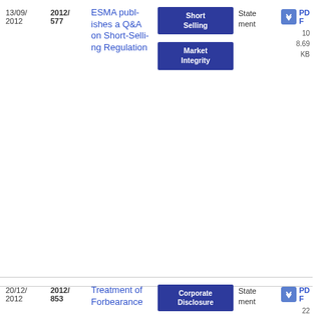| Date | Reference | Title | Tags | Type | Download |
| --- | --- | --- | --- | --- | --- |
| 13/09/2012 | 2012/577 | ESMA publishes a Q&A on Short-Selling Regulation | Short Selling, Market Integrity | Statement | PDF 108.69 KB |
| 20/12/2012 | 2012/853 | Treatment of Forbearance... | Corporate Disclosure, IFRS Supervisory Convergence | Statement | PDF 220.43 KB |